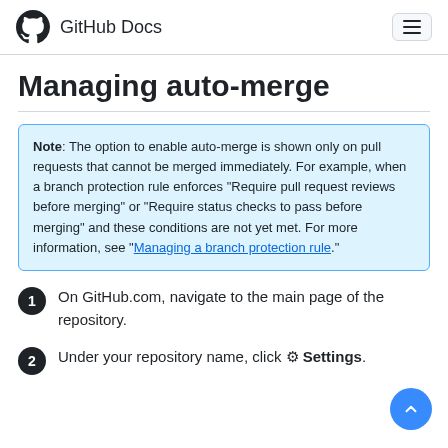GitHub Docs
Managing auto-merge
Note: The option to enable auto-merge is shown only on pull requests that cannot be merged immediately. For example, when a branch protection rule enforces "Require pull request reviews before merging" or "Require status checks to pass before merging" and these conditions are not yet met. For more information, see "Managing a branch protection rule."
1. On GitHub.com, navigate to the main page of the repository.
2. Under your repository name, click ⚙ Settings.